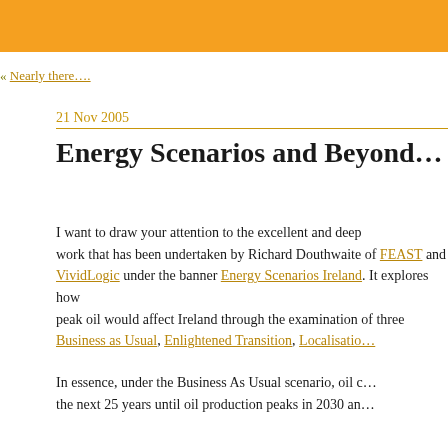« Nearly there....
21 Nov 2005
Energy Scenarios and Beyond…
I want to draw your attention to the excellent and deep work that has been undertaken by Richard Douthwaite of FEAST and VividLogic under the banner Energy Scenarios Ireland. It explores how peak oil would affect Ireland through the examination of three scenarios: Business as Usual, Enlightened Transition, Localisation…
In essence, under the Business As Usual scenario, oil continues for the next 25 years until oil production peaks in 2030 an…